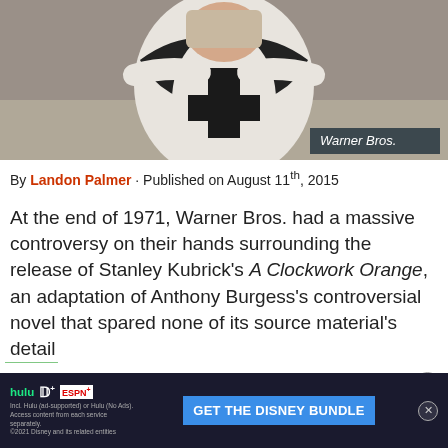[Figure (photo): A person wearing a white and black robe/costume with a large black cross on the chest, arms outstretched, in what appears to be a film still from A Clockwork Orange.]
Warner Bros.
By Landon Palmer · Published on August 11th, 2015
At the end of 1971, Warner Bros. had a massive controversy on their hands surrounding the release of Stanley Kubrick's A Clockwork Orange, an adaptation of Anthony Burgess's controversial novel that spared none of its source material's detail
[Figure (screenshot): Advertisement banner: GET THE DISNEY BUNDLE — hulu, Disney+, ESPN+. Incl. Hulu (ad-supported) or Hulu (No Ads). Access content from each service separately. ©2021 Disney and its related entities]